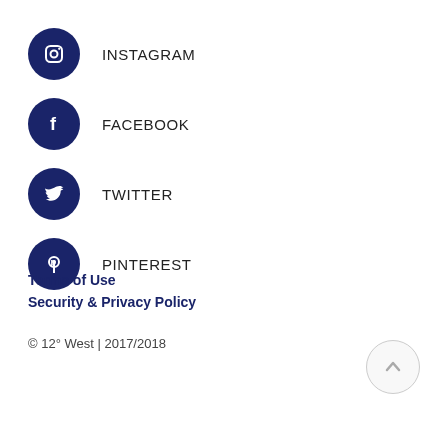INSTAGRAM
FACEBOOK
TWITTER
PINTEREST
Terms of Use
Security & Privacy Policy
© 12° West | 2017/2018
[Figure (illustration): Back to top arrow button - circular button with upward arrow]